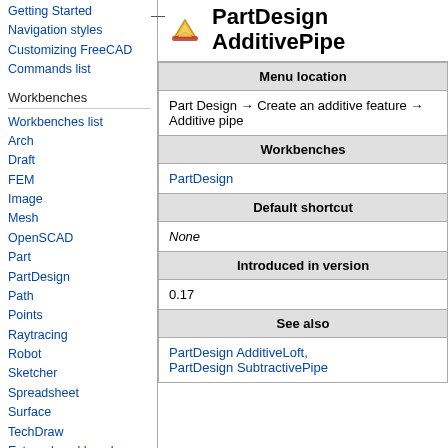Getting Started
Navigation styles
Customizing FreeCAD
Commands list
Workbenches
Workbenches list
Arch
Draft
FEM
Image
Mesh
OpenSCAD
Part
PartDesign
Path
Points
Raytracing
Robot
Sketcher
Spreadsheet
Surface
TechDraw
External workbenches
PartDesign AdditivePipe
| Menu location | Workbenches | Default shortcut | Introduced in version | See also |
| --- | --- | --- | --- | --- |
| Part Design → Create an additive feature → Additive pipe |
| PartDesign |
| None |
| 0.17 |
| PartDesign AdditiveLoft, PartDesign SubtractivePipe |